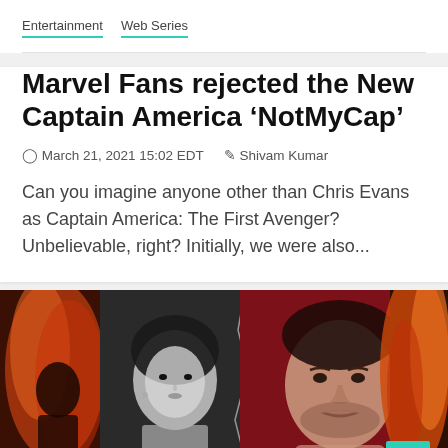Entertainment  Web Series
Marvel Fans rejected the New Captain America ‘NotMyCap’
March 21, 2021 15:02 EDT   Shivam Kumar
Can you imagine anyone other than Chris Evans as Captain America: The First Avenger? Unbelievable, right? Initially, we were also...
[Figure (photo): Promotional entertainment image showing multiple characters — a woman with fire-red hair on the left, a woman in black and white in the center, a man's face on the right against a red background, and fire/flames on the far right. Light/Dark toggle pill and teal scroll-to-top button overlay the image.]